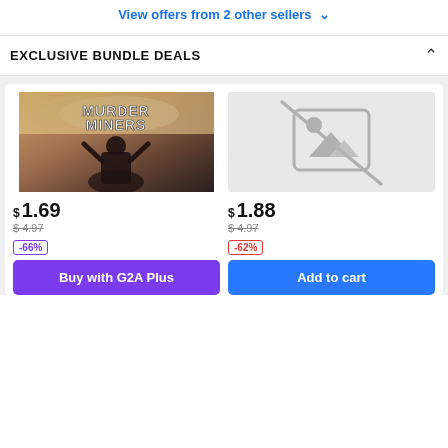View offers from 2 other sellers ∨
EXCLUSIVE BUNDLE DEALS
[Figure (screenshot): Game cover art for Murder Miners showing action figures]
[Figure (illustration): Placeholder image icon with diagonal line]
$ 1.69
$4.97
-66%
Buy with G2A Plus
$ 1.88
$4.97
-62%
Add to cart